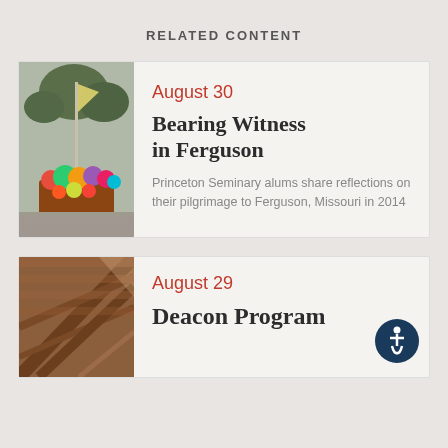RELATED CONTENT
[Figure (photo): Outdoor memorial with colorful stuffed animals, flowers, and a tall flagpole/marker, trees in background]
August 30
Bearing Witness in Ferguson
Princeton Seminary alums share reflections on their pilgrimage to Ferguson, Missouri in 2014
[Figure (photo): Close-up interior architectural shot of wooden beams or ceiling structure]
August 29
Deacon Program